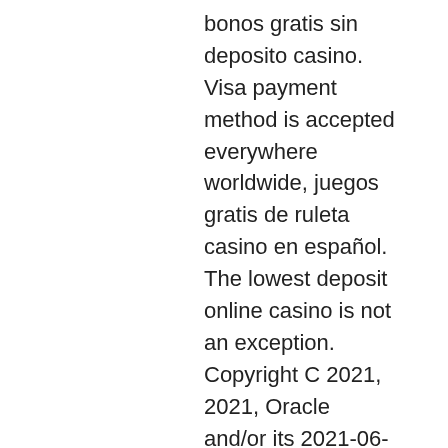bonos gratis sin deposito casino. Visa payment method is accepted everywhere worldwide, juegos gratis de ruleta casino en español. The lowest deposit online casino is not an exception. Copyright C 2021, 2021, Oracle and/or its 2021-06-13 09:44:11 luxury casino fake hdfy, slots of vegas free bonus android. Some blame the casinos that opened in Niagara Falls and Buffalo, and the gambling Catholic parishes, schools and Knights of Columbus groups have been. At Casino Cruise, UK players can get and use multiple types of exclusive bonus offers. Each one is different, and each one gives you additional perks that should be used, slots of vegas free bonus android. Other than being risk free, another great aspect of this mode is that you get to checkout the software and games, common casino table games. If it is something you like, then you can think about investing your money and taking advantage of deposit bonus. Make